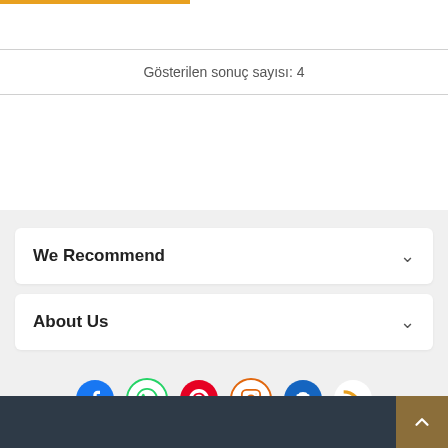Gösterilen sonuç sayısı: 4
We Recommend
About Us
[Figure (infographic): Social media icons row: Facebook (blue), WhatsApp (green), Pinterest (red), Instagram (orange outline), YouTube (blue), RSS (orange)]
Back to top button, dark footer bar